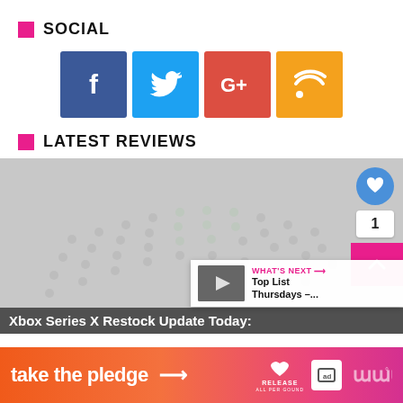SOCIAL
[Figure (infographic): Social media icons: Facebook (blue), Twitter (light blue), Google+ (red), RSS (orange/yellow)]
LATEST REVIEWS
[Figure (screenshot): Xbox Series X console image with heart/like button showing count 1, scroll-to-top pink button, and a 'What's Next' overlay showing 'Top List Thursdays –...' text]
Xbox Series X Restock Update Today:
[Figure (infographic): Orange-to-pink gradient advertisement banner reading 'take the pledge →' with Release and ad badges on the right]